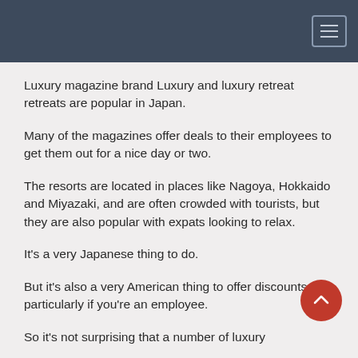Luxury magazine brand Luxury and luxury retreat retreats are popular in Japan.
Many of the magazines offer deals to their employees to get them out for a nice day or two.
The resorts are located in places like Nagoya, Hokkaido and Miyazaki, and are often crowded with tourists, but they are also popular with expats looking to relax.
It's a very Japanese thing to do.
But it's also a very American thing to offer discounts, particularly if you're an employee.
So it's not surprising that a number of luxury